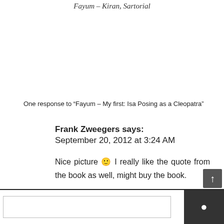Fayum – Kiran, Sartorial
One response to “Fayum – My first: Isa Posing as a Cleopatra”
Frank Zweegers says:
September 20, 2012 at 3:24 AM
Nice picture 🙂 I really like the quote from the book as well, might buy the book.